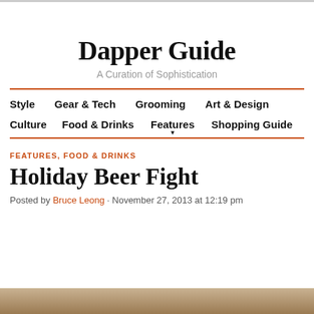Dapper Guide
A Curation of Sophistication
Style  Gear & Tech  Grooming  Art & Design  Culture  Food & Drinks  Features  Shopping Guide
FEATURES, FOOD & DRINKS
Holiday Beer Fight
Posted by Bruce Leong · November 27, 2013 at 12:19 pm
[Figure (photo): Partial image strip at bottom of page, appears to be a beer-related photo]